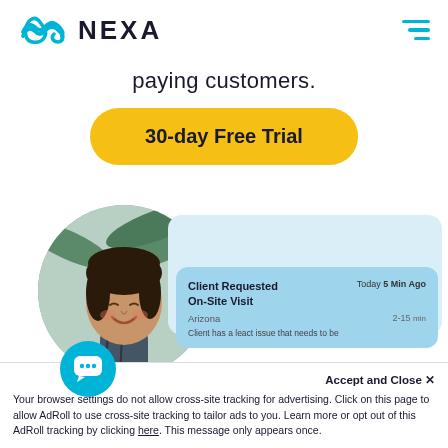[Figure (logo): NEXA logo with teal wave/infinity icon on the left and hamburger menu icon on the right]
paying customers.
30-day Free Trial
[Figure (photo): Circular photo of a smiling woman with dark hair, palm trees in background, with a teal chat bubble icon overlaid at bottom-left, and a light blue notification card to the right showing: Client Requested On-Site Visit | Today 5 Min Ago | Arizona | 2-15 min | Client has a leact issue that needs to be]
Accept and Close ×
Your browser settings do not allow cross-site tracking for advertising. Click on this page to allow AdRoll to use cross-site tracking to tailor ads to you. Learn more or opt out of this AdRoll tracking by clicking here. This message only appears once.